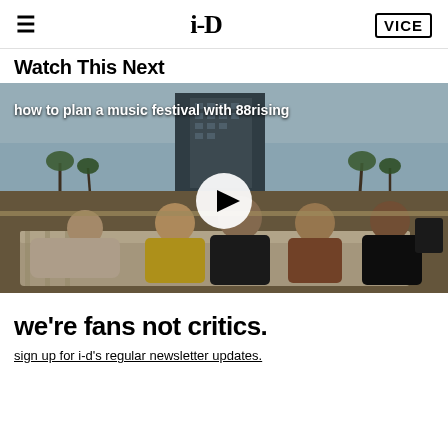i-D | VICE
Watch This Next
[Figure (photo): Video thumbnail showing five young men sitting on a rooftop couch with a city skyline and palm trees in the background, with a white play button overlay. Title reads 'how to plan a music festival with 88rising']
we're fans not critics.
sign up for i-d's regular newsletter updates.